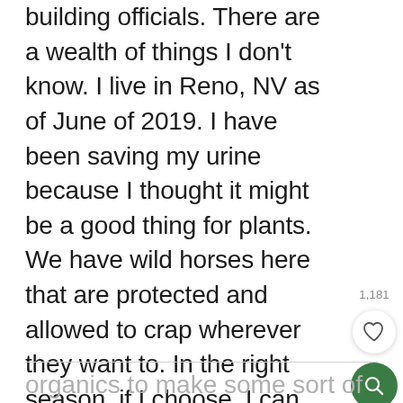building officials. There are a wealth of things I don't know. I live in Reno, NV as of June of 2019. I have been saving my urine because I thought it might be a good thing for plants. We have wild horses here that are protected and allowed to crap wherever they want to. In the right season, if I choose, I can collect this crap for fertilizer. I have been pondering the possibilities of modifying an IBC container and filling with horse crap, my pee and other
organics to make some sort of